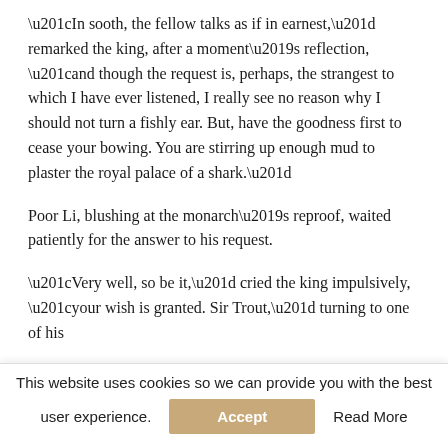“In sooth, the fellow talks as if in earnest,” remarked the king, after a moment’s reflection, “and though the request is, perhaps, the strangest to which I have ever listened, I really see no reason why I should not turn a fishly ear. But, have the goodness first to cease your bowing. You are stirring up enough mud to plaster the royal palace of a shark.”
Poor Li, blushing at the monarch’s reproof, waited patiently for the answer to his request.
“Very well, so be it,” cried the king impulsively, “your wish is granted. Sir Trout,” turning to one of his
This website uses cookies so we can provide you with the best user experience.